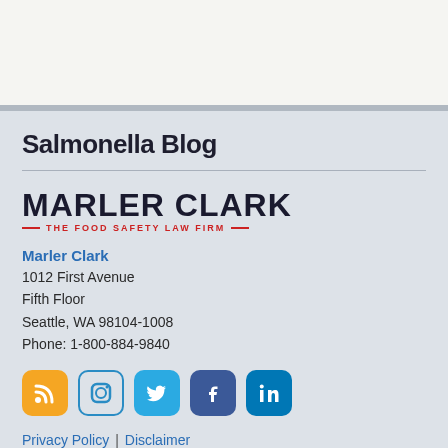Salmonella Blog
[Figure (logo): Marler Clark — The Food Safety Law Firm logo with red decorative lines flanking the tagline]
Marler Clark
1012 First Avenue
Fifth Floor
Seattle, WA 98104-1008
Phone: 1-800-884-9840
[Figure (infographic): Row of social media icons: RSS (orange), Instagram (outlined), Twitter (blue), Facebook (dark blue), LinkedIn (blue)]
Privacy Policy | Disclaimer
Bl...